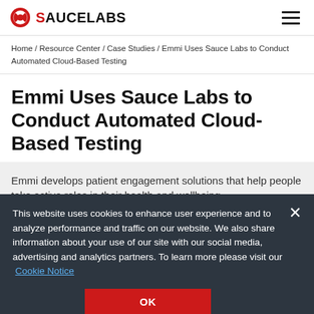Sauce Labs
Home / Resource Center / Case Studies / Emmi Uses Sauce Labs to Conduct Automated Cloud-Based Testing
Emmi Uses Sauce Labs to Conduct Automated Cloud-Based Testing
Emmi develops patient engagement solutions that help people take active roles in their health and wellbeing.
This website uses cookies to enhance user experience and to analyze performance and traffic on our website. We also share information about your use of our site with our social media, advertising and analytics partners. To learn more please visit our Cookie Notice